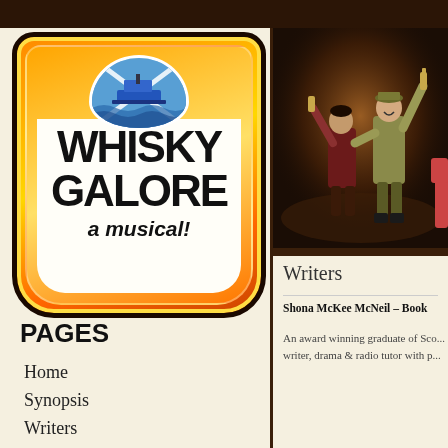[Figure (logo): Whisky Galore a musical! badge logo with ship emblem and Scottish saltire flag, orange and yellow gradient badge shape with black bold text]
[Figure (photo): Stage production photo showing actors in military costume with arms raised holding bottles, theatrical lighting on dark stage]
PAGES
Home
Synopsis
Writers
Writers
Shona McKee McNeil – Book
An award winning graduate of Sco... writer, drama & radio tutor with p...